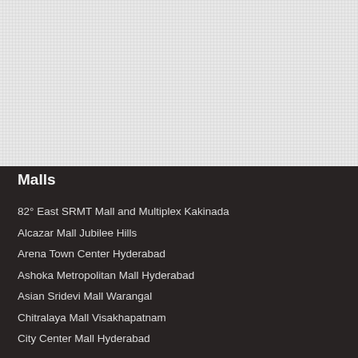[Figure (photo): Light grey textured background filling the upper half of the page]
Malls
82° East SRMT Mall and Multiplex Kakinada
Alcazar Mall Jubilee Hills
Arena Town Center Hyderabad
Ashoka Metropolitan Mall Hyderabad
Asian Sridevi Mall Warangal
Chitralaya Mall Visakhapatnam
City Center Mall Hyderabad